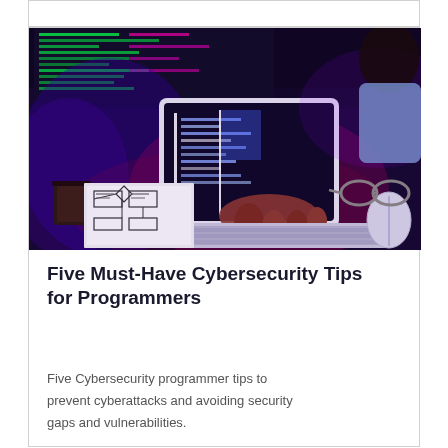[Figure (photo): A programmer working at a desk under blue and purple lighting, typing on a keyboard with a laptop displaying green code, a large monitor with code in the background, a coffee mug, glasses, and a hand-drawn flowchart on paper on the desk.]
Five Must-Have Cybersecurity Tips for Programmers
Five Cybersecurity programmer tips to prevent cyberattacks and avoiding security gaps and vulnerabilities.